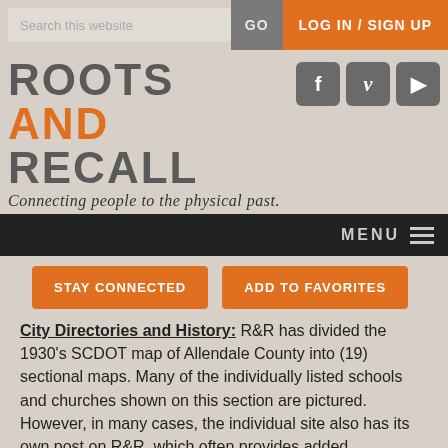Search this website | GO | LOG IN / SIGN UP
ROOTS AND RECALL
Connecting people to the physical past.
MENU
STAY CONNECTED
ADD TO FAVORITES
City Directories and History: R&R has divided the 1930's SCDOT map of Allendale County into (19) sectional maps. Many of the individually listed schools and churches shown on this section are pictured. However, in many cases, the individual site also has its own post on R&R, which often provides added information and image. Be wise and use the search function to locate all of the entries for this and other